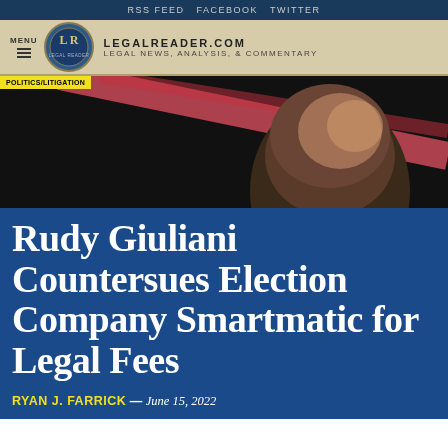RSS FEED  FACEBOOK  TWITTER
LEGALREADER.COM  LEGAL NEWS, ANALYSIS, & COMMENTARY
[Figure (photo): Close-up photo of a bald man's head against a dark background with diagonal pink/red light streaks]
POLITICS/LITIGATION
Rudy Giuliani Countersues Election Company Smartmatic for Legal Fees
RYAN J. FARRICK — June 15, 2022